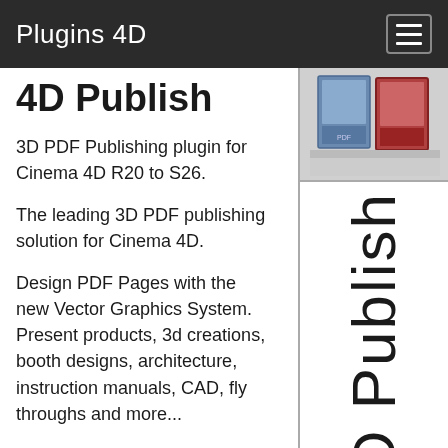Plugins 4D
4D Publish
3D PDF Publishing plugin for Cinema 4D R20 to S26.
The leading 3D PDF publishing solution for Cinema 4D.
Design PDF Pages with the new Vector Graphics System. Present products, 3d creations, booth designs, architecture, instruction manuals, CAD, fly throughs and more...
Secure your documents with Password Protection and User Permissions.
[Figure (screenshot): Product box image showing 4D Publish software packaging with two box covers visible]
[Figure (other): Vertical text reading '4D Publish' rotated 90 degrees]